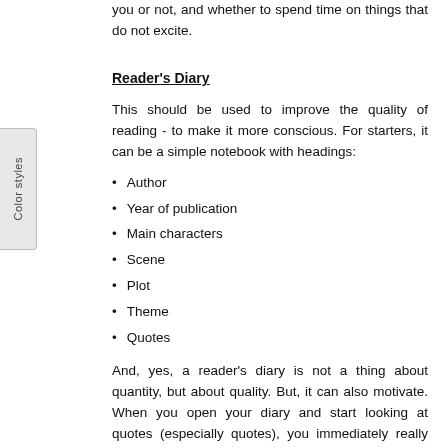you or not, and whether to spend time on things that do not excite.
Reader's Diary
This should be used to improve the quality of reading - to make it more conscious. For starters, it can be a simple notebook with headings:
Author
Year of publication
Main characters
Scene
Plot
Theme
Quotes
And, yes, a reader's diary is not a thing about quantity, but about quality. But, it can also motivate. When you open your diary and start looking at quotes (especially quotes), you immediately really want to read.